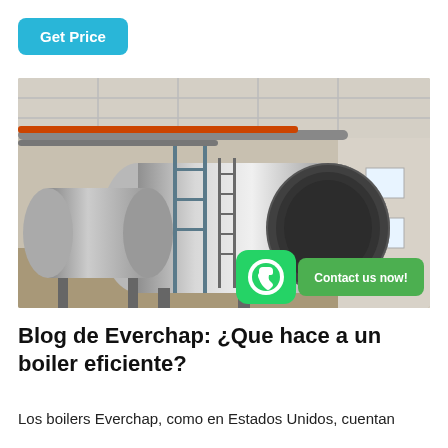Get Price
[Figure (photo): Industrial boiler room with large silver cylindrical boilers on metal supports, pipes running along ceiling, WhatsApp contact overlay in bottom right corner reading 'Contact us now!']
Blog de Everchap: ¿Que hace a un boiler eficiente?
Los boilers Everchap, como en Estados Unidos, cuentan